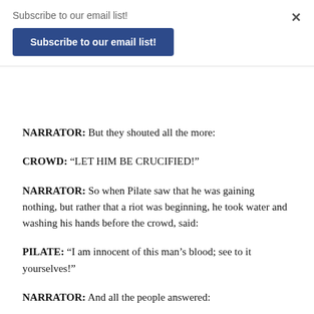Subscribe to our email list!
Subscribe to our email list!
NARRATOR: But they shouted all the more:
CROWD: “LET HIM BE CRUCIFIED!”
NARRATOR: So when Pilate saw that he was gaining nothing, but rather that a riot was beginning, he took water and washing his hands before the crowd, said:
PILATE: “I am innocent of this man’s blood; see to it yourselves!”
NARRATOR: And all the people answered: